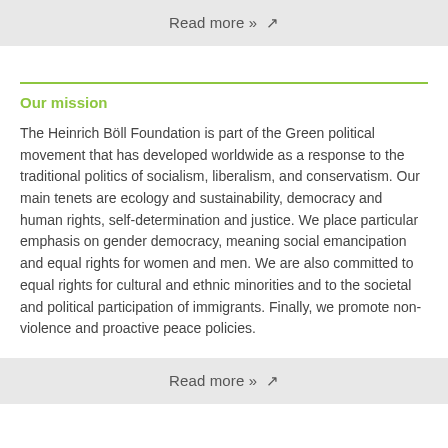Read more »  ↗
Our mission
The Heinrich Böll Foundation is part of the Green political movement that has developed worldwide as a response to the traditional politics of socialism, liberalism, and conservatism. Our main tenets are ecology and sustainability, democracy and human rights, self-determination and justice. We place particular emphasis on gender democracy, meaning social emancipation and equal rights for women and men. We are also committed to equal rights for cultural and ethnic minorities and to the societal and political participation of immigrants. Finally, we promote non-violence and proactive peace policies.
Read more »  ↗